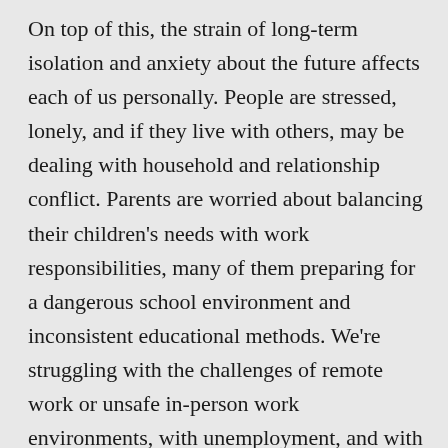On top of this, the strain of long-term isolation and anxiety about the future affects each of us personally. People are stressed, lonely, and if they live with others, may be dealing with household and relationship conflict. Parents are worried about balancing their children's needs with work responsibilities, many of them preparing for a dangerous school environment and inconsistent educational methods. We're struggling with the challenges of remote work or unsafe in-person work environments, with unemployment, and with financial stress. Some of us are worried about or grieving those who've fallen ill or suffered the ultimate fate at the hands of COVID-19.